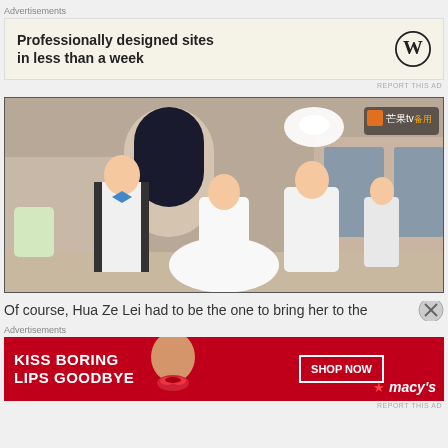Advertisements
[Figure (screenshot): WordPress advertisement banner with text 'Professionally designed sites in less than a week' and WordPress logo on beige background]
REPORT THIS AD
[Figure (photo): Scene from a Chinese drama showing a woman in a white wedding dress being led by a man in a white suit, with another man in a white tuxedo with bow tie on the left, indoors in an ornate venue]
Of course, Hua Ze Lei had to be the one to bring her to the
Advertisements
[Figure (screenshot): Macy's advertisement banner with red background, text 'KISS BORING LIPS GOODBYE', a model's face with red lipstick, 'SHOP NOW' button, and Macy's logo]